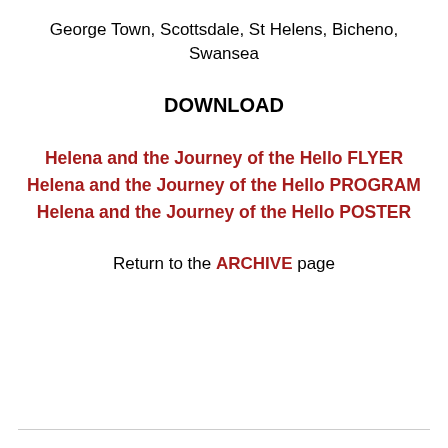George Town, Scottsdale, St Helens, Bicheno, Swansea
DOWNLOAD
Helena and the Journey of the Hello FLYER
Helena and the Journey of the Hello PROGRAM
Helena and the Journey of the Hello POSTER
Return to the ARCHIVE page